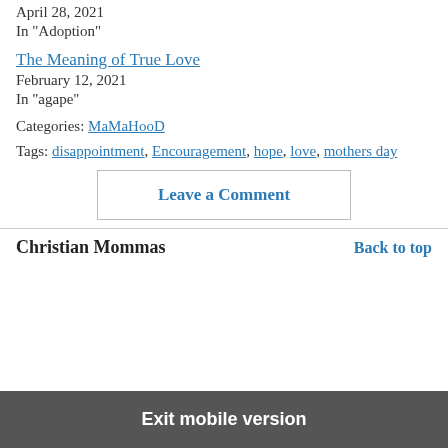April 28, 2021
In "Adoption"
The Meaning of True Love
February 12, 2021
In "agape"
Categories: MaMaHooD
Tags: disappointment, Encouragement, hope, love, mothers day
Leave a Comment
Christian Mommas
Back to top
Exit mobile version